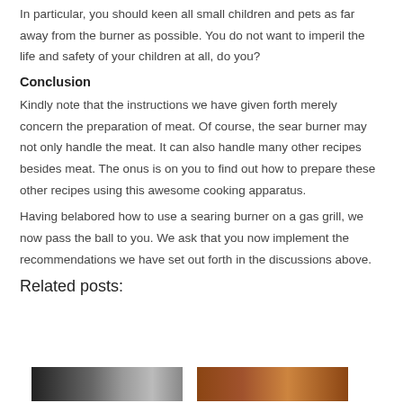In particular, you should keen all small children and pets as far away from the burner as possible. You do not want to imperil the life and safety of your children at all, do you?
Conclusion
Kindly note that the instructions we have given forth merely concern the preparation of meat. Of course, the sear burner may not only handle the meat. It can also handle many other recipes besides meat. The onus is on you to find out how to prepare these other recipes using this awesome cooking apparatus.
Having belabored how to use a searing burner on a gas grill, we now pass the ball to you. We ask that you now implement the recommendations we have set out forth in the discussions above.
Related posts:
[Figure (photo): Two thumbnail images of food/cooking related photos at the bottom of the page]